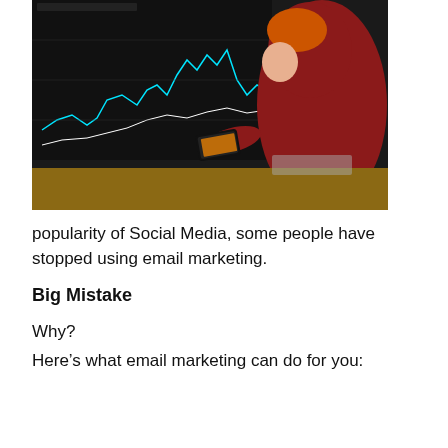[Figure (photo): Person in a red hoodie sitting at a desk, looking at a smartphone, with a large monitor displaying stock market/trading charts in the background.]
popularity of Social Media, some people have stopped using email marketing.
Big Mistake
Why?
Here’s what email marketing can do for you: